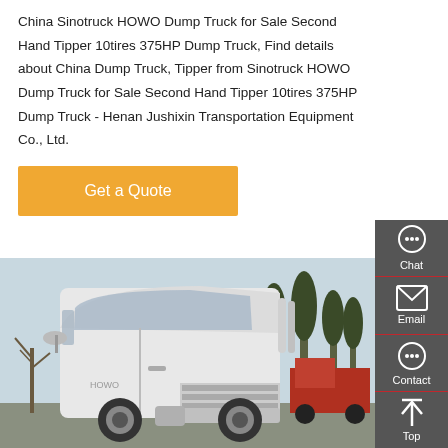China Sinotruck HOWO Dump Truck for Sale Second Hand Tipper 10tires 375HP Dump Truck, Find details about China Dump Truck, Tipper from Sinotruck HOWO Dump Truck for Sale Second Hand Tipper 10tires 375HP Dump Truck - Henan Jushixin Transportation Equipment Co., Ltd.
[Figure (other): Orange 'Get a Quote' button]
[Figure (photo): Photo of a white Sinotruck HOWO dump truck cab, parked outdoors with trees in the background and other trucks visible.]